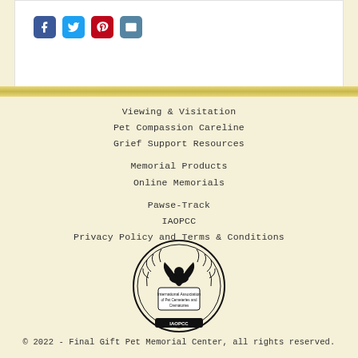[Figure (other): Social media share icons: Facebook (blue), Twitter (light blue), Pinterest (red), Email (teal)]
Viewing & Visitation
Pet Compassion Careline
Grief Support Resources
Memorial Products
Online Memorials
Pawse-Track
IAOPCC
Privacy Policy and Terms & Conditions
[Figure (logo): IAOPCC seal logo — International Association of Pet Cemeteries and Crematories, oval emblem with bird and laurel wreath]
© 2022 - Final Gift Pet Memorial Center, all rights reserved.